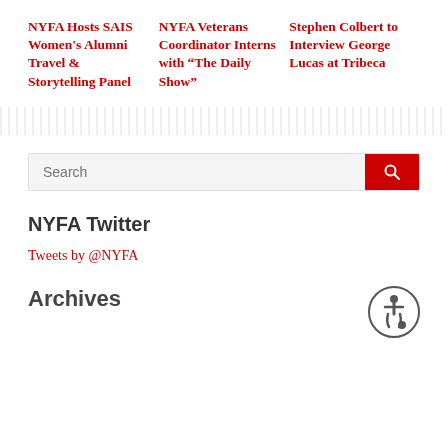NYFA Hosts SAIS Women's Alumni Travel & Storytelling Panel
NYFA Veterans Coordinator Interns with “The Daily Show”
Stephen Colbert to Interview George Lucas at Tribeca
Search
NYFA Twitter
Tweets by @NYFA
Archives